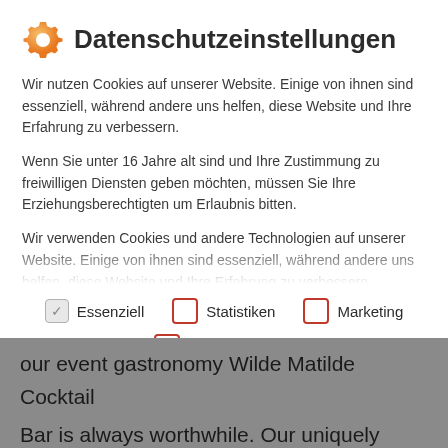Datenschutzeinstellungen
Wir nutzen Cookies auf unserer Website. Einige von ihnen sind essenziell, während andere uns helfen, diese Website und Ihre Erfahrung zu verbessern.
Wenn Sie unter 16 Jahre alt sind und Ihre Zustimmung zu freiwilligen Diensten geben möchten, müssen Sie Ihre Erziehungsberechtigten um Erlaubnis bitten.
Wir verwenden Cookies und andere Technologien auf unserer Website. Einige von ihnen sind essenziell, während andere uns helfen, diese Website und Ihre Erfahrung zu verbessern. Personenbezogene Daten können verarbeitet werden (z. B. IP-Adressen), z. B. für personalisierte Anzeigen und Inhalte oder
Essenziell
Statistiken
Marketing
Externe Medien
our event gastronomy Wilde Matilde Cocktail Bar is always worthwhile. Our uniquely beautiful ambience enchants old and young